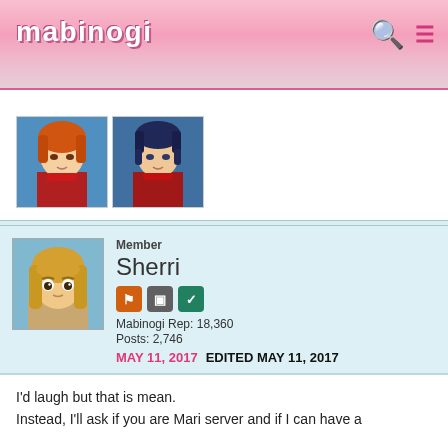mabinogi
[Figure (illustration): Two anime character portrait thumbnails side by side — left is a female character with orange hair, right is a male character with dark blue hair, both in red outfits]
Member
Sherri
Mabinogi Rep: 18,360
Posts: 2,746
MAY 11, 2017    EDITED MAY 11, 2017
I'd laugh but that is mean.
Instead, I'll ask if you are Mari server and if I can have a